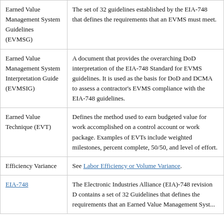| Term | Definition |
| --- | --- |
| Earned Value Management System Guidelines (EVMSG) | The set of 32 guidelines established by the EIA-748 that defines the requirements that an EVMS must meet. |
| Earned Value Management System Interpretation Guide (EVMSIG) | A document that provides the overarching DoD interpretation of the EIA-748 Standard for EVMS guidelines. It is used as the basis for DoD and DCMA to assess a contractor's EVMS compliance with the EIA-748 guidelines. |
| Earned Value Technique (EVT) | Defines the method used to earn budgeted value for work accomplished on a control account or work package. Examples of EVTs include weighted milestones, percent complete, 50/50, and level of effort. |
| Efficiency Variance | See Labor Efficiency or Volume Variance. |
| EIA-748 | The Electronic Industries Alliance (EIA)-748 revision D contains a set of 32 Guidelines that defines the requirements that an Earned Value Management Syst... |